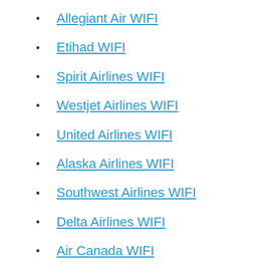Allegiant Air WIFI
Etihad WIFI
Spirit Airlines WIFI
Westjet Airlines WIFI
United Airlines WIFI
Alaska Airlines WIFI
Southwest Airlines WIFI
Delta Airlines WIFI
Air Canada WIFI